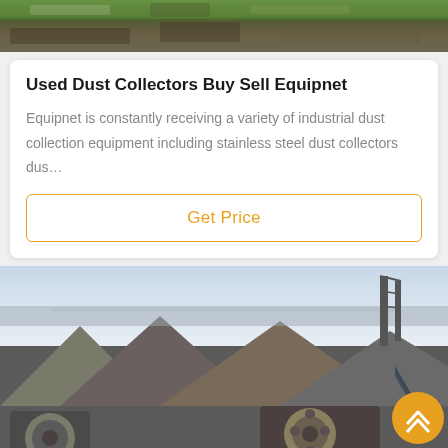[Figure (photo): Aerial or outdoor photo of industrial/agricultural site at top of page]
Used Dust Collectors Buy Sell Equipnet
Equipnet is constantly receiving a variety of industrial dust collection equipment including stainless steel dust collectors dus…
Get Price
[Figure (photo): Outdoor industrial mining or quarry site with large machinery and rock piles]
Leave Message
Chat Online